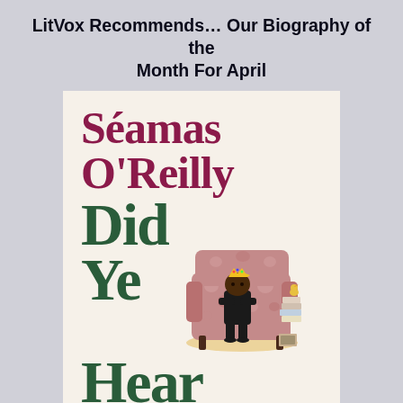LitVox Recommends… Our Biography of the Month For April
[Figure (illustration): Book cover of 'Did Ye Hear' by Séamas O'Reilly, featuring large dark red author name text and dark green title text on a cream background, with an illustration of a boy sitting in a floral armchair wearing a gold crown, with a stack of books and a bird beside him.]